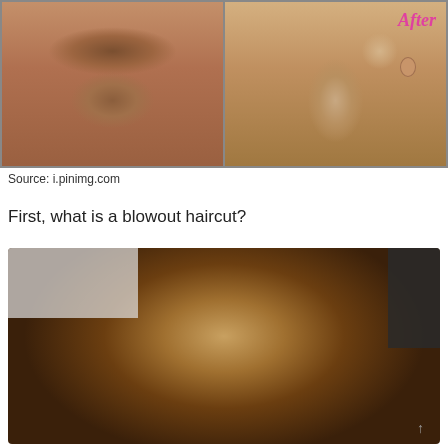[Figure (photo): Two side-by-side photos showing hairstyles from behind/side. Left panel shows a pinned updo hairstyle, right panel shows a short cut with 'After' label in pink italic text.]
Source: i.pinimg.com
First, what is a blowout haircut?
[Figure (photo): Close-up photo from above/behind showing a person's natural afro/blowout hairstyle with golden-brown highlights on top and dark roots, set against a light background on the left and dark background on the right.]